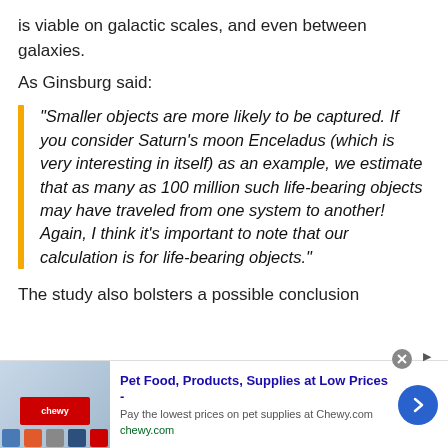is viable on galactic scales, and even between galaxies.
As Ginsburg said:
"Smaller objects are more likely to be captured. If you consider Saturn's moon Enceladus (which is very interesting in itself) as an example, we estimate that as many as 100 million such life-bearing objects may have traveled from one system to another! Again, I think it's important to note that our calculation is for life-bearing objects."
The study also bolsters a possible conclusion
[Figure (other): Advertisement banner for Chewy.com pet food and supplies, with logo image, text 'Pet Food, Products, Supplies at Low Prices - Pay the lowest prices on pet supplies at Chewy.com' and a blue arrow button]